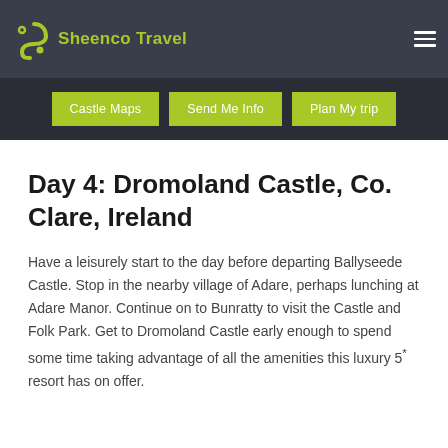Sheenco Travel
Day 4: Dromoland Castle, Co. Clare, Ireland
Have a leisurely start to the day before departing Ballyseede Castle. Stop in the nearby village of Adare, perhaps lunching at Adare Manor. Continue on to Bunratty to visit the Castle and Folk Park. Get to Dromoland Castle early enough to spend some time taking advantage of all the amenities this luxury 5* resort has on offer.